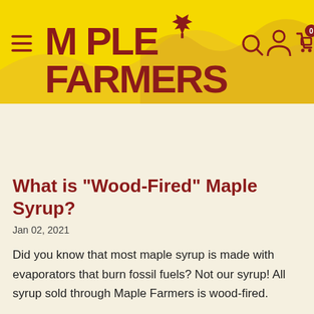[Figure (logo): Maple Farmers logo with red maple leaf, bold dark red text on yellow background header with hill silhouette. Navigation icons: hamburger menu, search, account, cart with 0 badge.]
What is "Wood-Fired" Maple Syrup?
Jan 02, 2021
Did you know that most maple syrup is made with evaporators that burn fossil fuels? Not our syrup! All syrup sold through Maple Farmers is wood-fired.